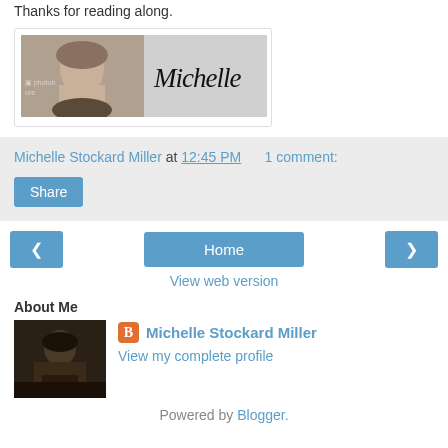Thanks for reading along.
[Figure (illustration): Signature banner with a classical portrait painting on the left and cursive 'Michelle' text on the right against a grey background]
Michelle Stockard Miller at 12:45 PM   1 comment:
Share
< Home >
View web version
About Me
[Figure (photo): Black and white photo of a woman sitting at a desk writing]
Michelle Stockard Miller
View my complete profile
Powered by Blogger.